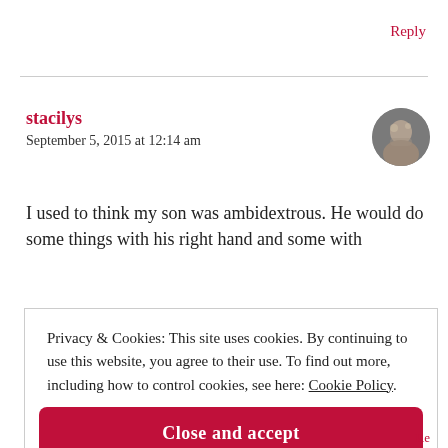Reply
stacilys
September 5, 2015 at 12:14 am
[Figure (photo): Small circular avatar photo of a person]
I used to think my son was ambidextrous. He would do some things with his right hand and some with
Privacy & Cookies: This site uses cookies. By continuing to use this website, you agree to their use. To find out more, including how to control cookies, see here: Cookie Policy
Close and accept